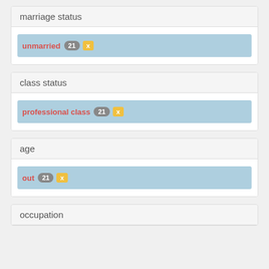marriage status
unmarried 21 x
class status
professional class 21 x
age
out 21 x
occupation